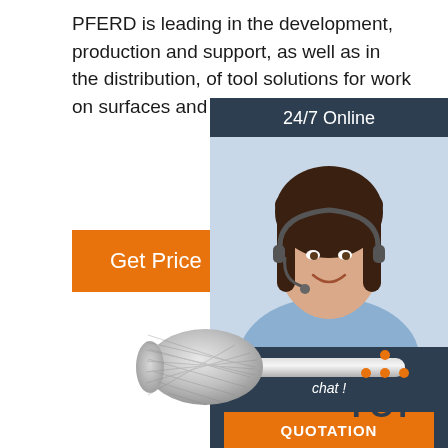PFERD is leading in the development, production and support, as well as in the distribution, of tool solutions for work on surfaces and material cutting.
[Figure (illustration): Orange 'Get Price' button]
[Figure (infographic): 24/7 Online chat widget with a female customer service representative wearing a headset. Dark navy background with orange 'QUOTATION' button and italic text 'Click here for free chat!']
[Figure (photo): Carbide rotary burr / rotary file tool on white background]
[Figure (logo): TOP logo with orange dots arranged in a triangle above bold dark text 'TOP']